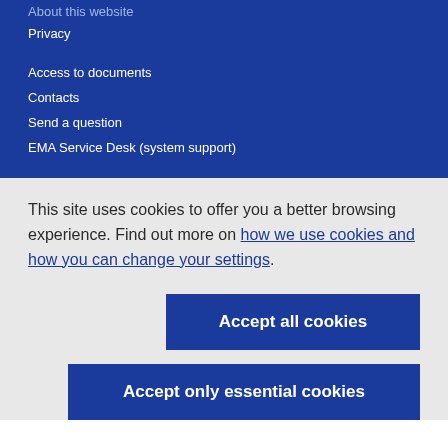About this website
Privacy
Access to documents
Contacts
Send a question
EMA Service Desk (system support)
This site uses cookies to offer you a better browsing experience. Find out more on how we use cookies and how you can change your settings.
Accept all cookies
Accept only essential cookies